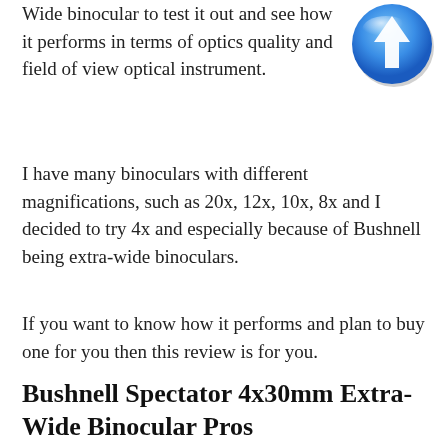Wide binocular to test it out and see how it performs in terms of optics quality and field of view optical instrument.
[Figure (illustration): A blue circular icon with a white upward-pointing arrow, styled like a glossy button.]
I have many binoculars with different magnifications, such as 20x, 12x, 10x, 8x and I decided to try 4x and especially because of Bushnell being extra-wide binoculars.
If you want to know how it performs and plan to buy one for you then this review is for you.
Bushnell Spectator 4x30mm Extra-Wide Binocular Pros